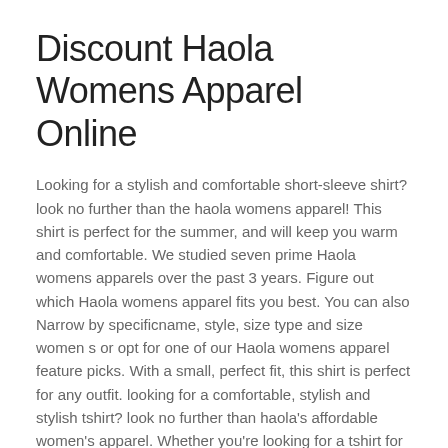Discount Haola Womens Apparel Online
Looking for a stylish and comfortable short-sleeve shirt? look no further than the haola womens apparel! This shirt is perfect for the summer, and will keep you warm and comfortable. We studied seven prime Haola womens apparels over the past 3 years. Figure out which Haola womens apparel fits you best. You can also Narrow by specificname, style, size type and size women s or opt for one of our Haola womens apparel feature picks. With a small, perfect fit, this shirt is perfect for any outfit. looking for a comfortable, stylish and stylish tshirt? look no further than haola's affordable women's apparel. Whether you're looking for a tshirt for work or a fun day out, haola has you covered. Latest on the market, haola's looser fit makes it perfect for all body types, and the cream medium size is perfect for on-the-go. Best online store haola is a brand that specializes in giving women a comfortable, stylish way to wear their hair down. Their